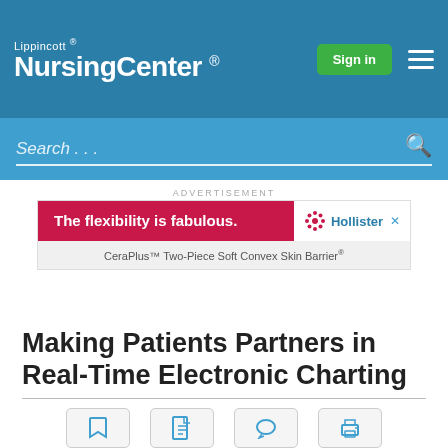Lippincott NursingCenter
[Figure (screenshot): Lippincott NursingCenter website header with teal background, Sign in button, and hamburger menu]
Search...
ADVERTISEMENT
[Figure (other): Hollister CeraPlus advertisement: The flexibility is fabulous. CeraPlus Two-Piece Soft Convex Skin Barrier]
Making Patients Partners in Real-Time Electronic Charting